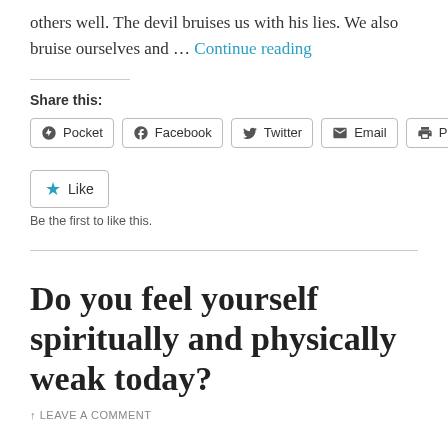others well. The devil bruises us with his lies. We also bruise ourselves and ... Continue reading
Share this:
Pocket | Facebook | Twitter | Email | Print
Like
Be the first to like this.
Do you feel yourself spiritually and physically weak today?
LEAVE A COMMENT